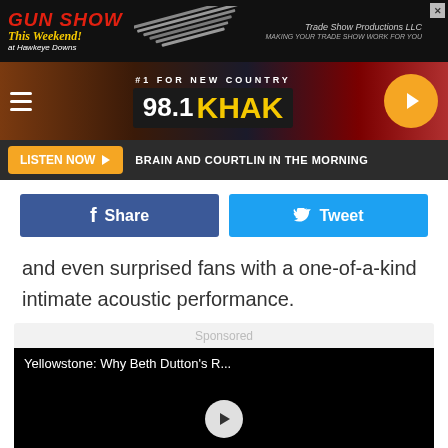[Figure (screenshot): Top advertisement banner for Gun Show This Weekend at Hawkeye Downs on dark background]
[Figure (screenshot): 98.1 KHAK radio station banner with tagline #1 For New Country and play button]
[Figure (screenshot): Listen Now button bar with text: BRAIN AND COURTLIN IN THE MORNING]
[Figure (screenshot): Facebook Share and Twitter Tweet social sharing buttons]
and even surprised fans with a one-of-a-kind intimate acoustic performance.
[Figure (screenshot): Sponsored video player showing Yellowstone: Why Beth Dutton's R... with play button]
[Figure (screenshot): Bottom advertisement: Final Weekend Summer Clearance Mattress Sale, Open Labor Day 10am-4pm]